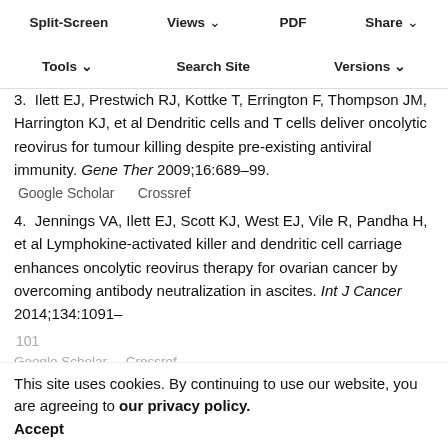Split-Screen  Views  PDF  Share
Tools  Search Site  Versions
Proc 2014;89:026–33
Google Scholar  Crossref
3. Ilett EJ, Prestwich RJ, Kottke T, Errington F, Thompson JM, Harrington KJ, et al Dendritic cells and T cells deliver oncolytic reovirus for tumour killing despite pre-existing antiviral immunity. Gene Ther 2009;16:689–99.
Google Scholar  Crossref
4. Jennings VA, Ilett EJ, Scott KJ, West EJ, Vile R, Pandha H, et al Lymphokine-activated killer and dendritic cell carriage enhances oncolytic reovirus therapy for ovarian cancer by overcoming antibody neutralization in ascites. Int J Cancer 2014;134:1091–101
Google Scholar  Crossref
J, Wang H, Kottke T, White C, Twigger K, Diaz RM, et al Cyclophosphamide facilitates antitumor
This site uses cookies. By continuing to use our website, you are agreeing to our privacy policy. Accept